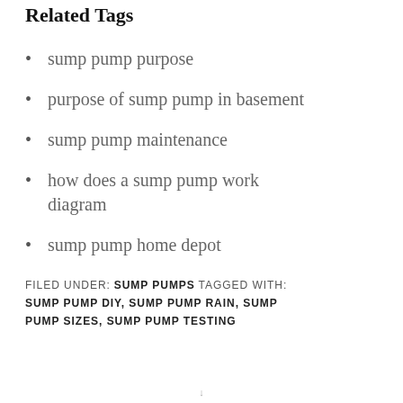Related Tags
sump pump purpose
purpose of sump pump in basement
sump pump maintenance
how does a sump pump work diagram
sump pump home depot
FILED UNDER: SUMP PUMPS TAGGED WITH: SUMP PUMP DIY, SUMP PUMP RAIN, SUMP PUMP SIZES, SUMP PUMP TESTING